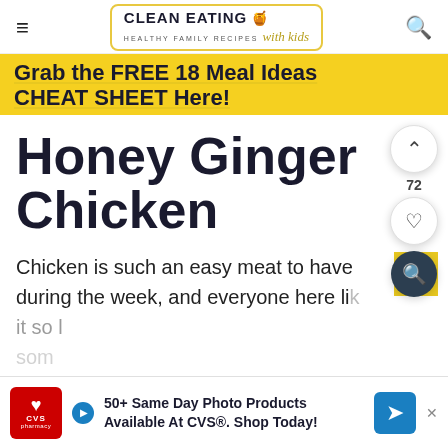CLEAN EATING HEALTHY FAMILY RECIPES with kids
Grab the FREE 18 Meal Ideas CHEAT SHEET Here!
Honey Ginger Chicken
Chicken is such an easy meat to have during the week, and everyone here li... it so ... som...
[Figure (other): CVS pharmacy advertisement banner: 50+ Same Day Photo Products Available At CVS®. Shop Today!]